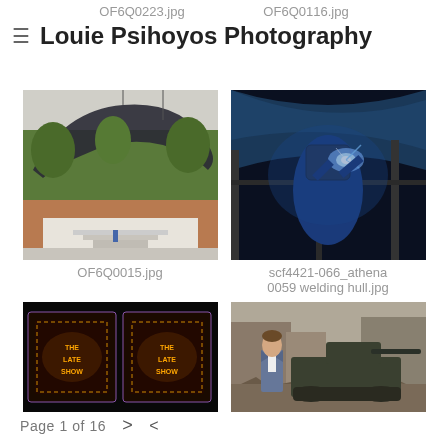OF6Q0223.jpg    OF6Q0116.jpg
Louie Psihoyos Photography
[Figure (photo): Outdoor amphitheater with large blue whale sculpture arching overhead, trees in background, person visible on stage steps]
OF6Q0015.jpg
[Figure (photo): Worker in blue suit welding inside a large curved metal structure, blue sparks and light, industrial setting]
scf4421-066_athena 0059 welding hull.jpg
[Figure (photo): The Late Show signage with colorful illuminated letters, dark background]
[Figure (photo): Man in suit and bow tie standing in front of a military tank in a rubble-strewn street]
Page 1 of 16  >  <share>